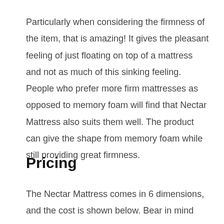Particularly when considering the firmness of the item, that is amazing! It gives the pleasant feeling of just floating on top of a mattress and not as much of this sinking feeling. People who prefer more firm mattresses as opposed to memory foam will find that Nectar Mattress also suits them well. The product can give the shape from memory foam while still providing great firmness.
Pricing
The Nectar Mattress comes in 6 dimensions, and the cost is shown below. Bear in mind that all of